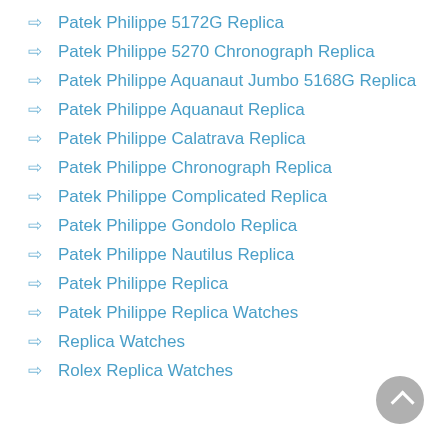Patek Philippe 5172G Replica
Patek Philippe 5270 Chronograph Replica
Patek Philippe Aquanaut Jumbo 5168G Replica
Patek Philippe Aquanaut Replica
Patek Philippe Calatrava Replica
Patek Philippe Chronograph Replica
Patek Philippe Complicated Replica
Patek Philippe Gondolo Replica
Patek Philippe Nautilus Replica
Patek Philippe Replica
Patek Philippe Replica Watches
Replica Watches
Rolex Replica Watches